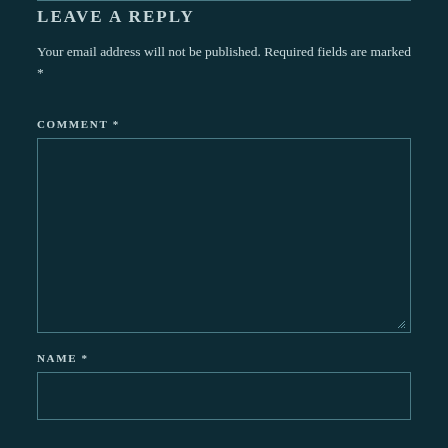LEAVE A REPLY
Your email address will not be published. Required fields are marked *
COMMENT *
[Figure (other): Empty comment textarea input box with resize handle in bottom-right corner]
NAME *
[Figure (other): Empty name text input box]